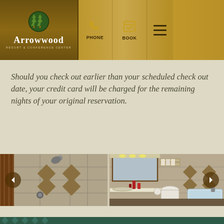Arrowwood Resort & Conference Center
Should you check out earlier than your scheduled check out date, your credit card will be charged for the remaining nights of your original reservation.
[Figure (photo): Hotel bathroom photos showing tiled shower with diamond pattern, vanity mirror with lighting, toilet, and bathtub with whirlpool jets]